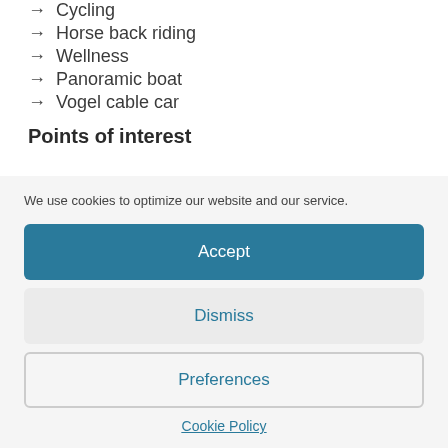Cycling
Horse back riding
Wellness
Panoramic boat
Vogel cable car
Points of interest
We use cookies to optimize our website and our service.
Accept
Dismiss
Preferences
Cookie Policy